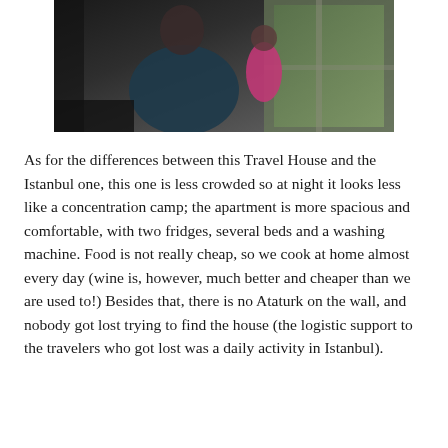[Figure (photo): A woman seated wearing a patterned dress, with a small child in a pink outfit standing near a window with greenery visible outside. Dark interior setting.]
As for the differences between this Travel House and the Istanbul one, this one is less crowded so at night it looks less like a concentration camp; the apartment is more spacious and comfortable, with two fridges, several beds and a washing machine. Food is not really cheap, so we cook at home almost every day (wine is, however, much better and cheaper than we are used to!) Besides that, there is no Ataturk on the wall, and nobody got lost trying to find the house (the logistic support to the travelers who got lost was a daily activity in Istanbul).